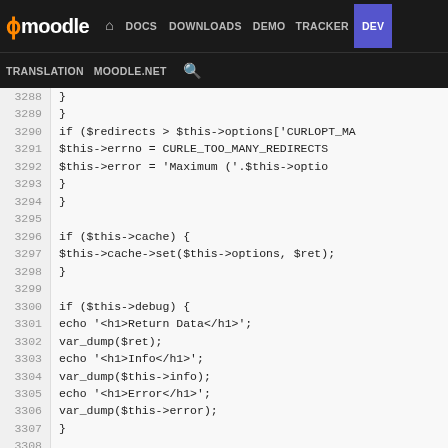moodle | DOCS | DOWNLOADS | DEMO | TRACKER | DEV | TRANSLATION | MOODLE.NET
[Figure (screenshot): Moodle developer documentation website navigation bar with logo and menu items: DOCS, DOWNLOADS, DEMO, TRACKER, DEV (active/highlighted), TRANSLATION, MOODLE.NET, and search icon]
Code viewer showing PHP source lines 3288-3314 including conditionals for redirects, cache, debug output, curl_close, and error handling